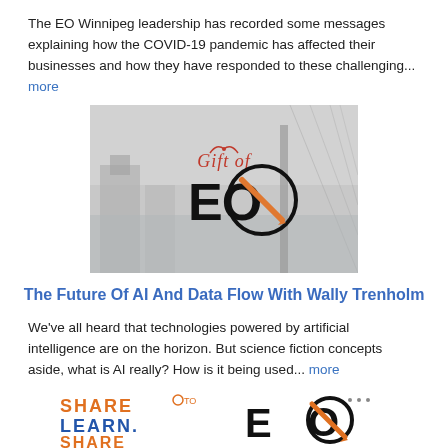The EO Winnipeg leadership has recorded some messages explaining how the COVID-19 pandemic has affected their businesses and how they have responded to these challenging... more
[Figure (logo): Gift of EO logo overlaid on a grayscale cityscape background showing a bridge and buildings]
The Future Of AI And Data Flow With Wally Trenholm
We've all heard that technologies powered by artificial intelligence are on the horizon. But science fiction concepts aside, what is AI really? How is it being used... more
[Figure (logo): Share to Learn. Share. logo in orange and blue text alongside EO logo with orange checkmark]